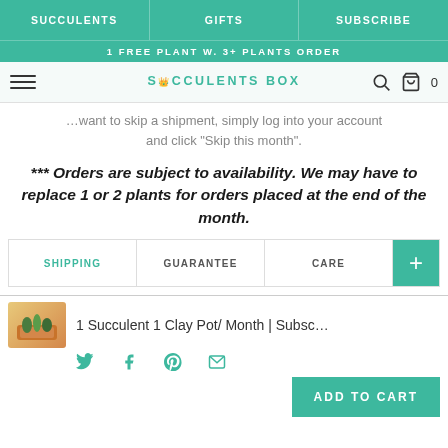SUCCULENTS | GIFTS | SUBSCRIBE
1 FREE PLANT W. 3+ PLANTS ORDER
SUCCULENTS BOX
...want to skip a shipment, simply log into your account and click "Skip this month".
*** Orders are subject to availability. We may have to replace 1 or 2 plants for orders placed at the end of the month.
SHIPPING | GUARANTEE | CARE | +
1 Succulent 1 Clay Pot/ Month | Subsc...
ADD TO CART